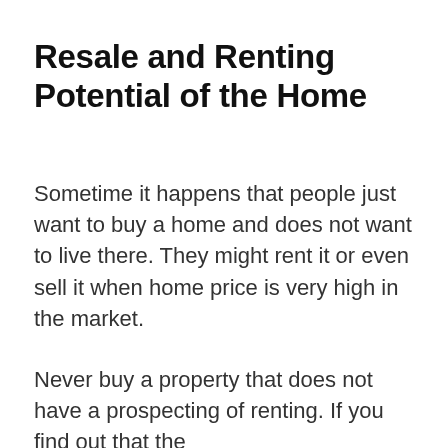Resale and Renting Potential of the Home
Sometime it happens that people just want to buy a home and does not want to live there. They might rent it or even sell it when home price is very high in the market.
Never buy a property that does not have a prospecting of renting. If you find out that the